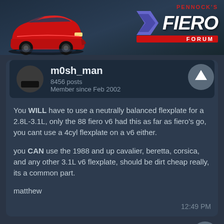[Figure (logo): Pennock's Fiero Forum header with red Fiero car illustration and logo text]
m0sh_man
8456 posts
Member since Feb 2002
You WILL have to use a neutrally balanced flexplate for a 2.8L-3.1L, only the 88 fiero v6 had this as far as fiero's go, you cant use a 4cyl flexplate on a v6 either.

you CAN use the 1988 and up cavalier, beretta, corsica, and any other 3.1L v6 flexplate, should be dirt cheap really, its a common part.

matthew
12:49 PM
Nov 9th, 2008